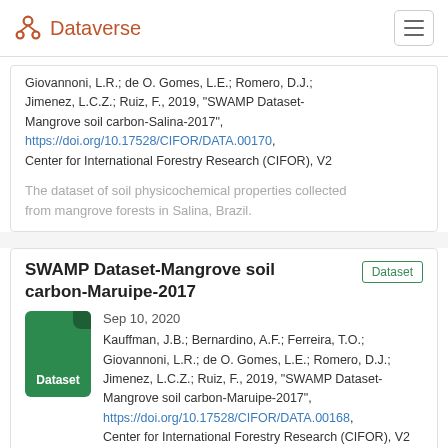Dataverse
Giovannoni, L.R.; de O. Gomes, L.E.; Romero, D.J.; Jimenez, L.C.Z.; Ruiz, F., 2019, "SWAMP Dataset-Mangrove soil carbon-Salina-2017", https://doi.org/10.17528/CIFOR/DATA.00170, Center for International Forestry Research (CIFOR), V2
The dataset of soil physicochemical properties collected from mangrove forests in Salina, Brazil.
SWAMP Dataset-Mangrove soil carbon-Maruipe-2017
Sep 10, 2020
Kauffman, J.B.; Bernardino, A.F.; Ferreira, T.O.; Giovannoni, L.R.; de O. Gomes, L.E.; Romero, D.J.; Jimenez, L.C.Z.; Ruiz, F., 2019, "SWAMP Dataset-Mangrove soil carbon-Maruipe-2017", https://doi.org/10.17528/CIFOR/DATA.00168, Center for International Forestry Research (CIFOR), V2
The dataset of soil physicochemical properties collected